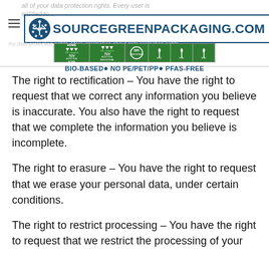all of your data protection rights. Every user is entitled to...
[Figure (logo): SourceGreenPackaging.com logo with snowflake/leaf icon and blue border]
[Figure (infographic): Certification logos: TUV Austria OK compost HOME, TUV Austria OK compost INDUSTRIAL, BPI Compostable, FSC certified x3. Text: BIO-BASED• NO PE/PET/PP• PFAS-FREE]
The right to rectification – You have the right to request that we correct any information you believe is inaccurate. You also have the right to request that we complete the information you believe is incomplete.
The right to erasure – You have the right to request that we erase your personal data, under certain conditions.
The right to restrict processing – You have the right to request that we restrict the processing of your